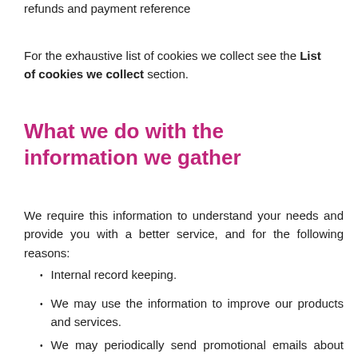refunds and payment reference
For the exhaustive list of cookies we collect see the List of cookies we collect section.
What we do with the information we gather
We require this information to understand your needs and provide you with a better service, and for the following reasons:
Internal record keeping.
We may use the information to improve our products and services.
We may periodically send promotional emails about new products, special offers or other information which we think you may find